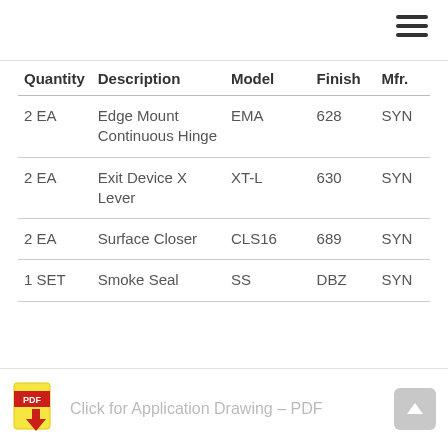| Quantity | Description | Model | Finish | Mfr. |
| --- | --- | --- | --- | --- |
| 2 EA | Edge Mount Continuous Hinge | EMA | 628 | SYN |
| 2 EA | Exit Device X Lever | XT-L | 630 | SYN |
| 2 EA | Surface Closer | CLS16 | 689 | SYN |
| 1 SET | Smoke Seal | SS | DBZ | SYN |
Click for Application Drawing – PDF